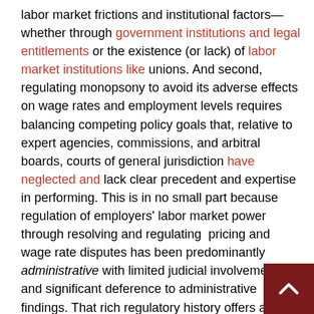labor market frictions and institutional factors—whether through government institutions and legal entitlements or the existence (or lack) of labor market institutions like unions. And second, regulating monopsony to avoid its adverse effects on wage rates and employment levels requires balancing competing policy goals that, relative to expert agencies, commissions, and arbitral boards, courts of general jurisdiction have neglected and lack clear precedent and expertise in performing. This is in no small part because regulation of employers' labor market power through resolving and regulating pricing and wage rate disputes has been predominantly administrative with limited judicial involvement and significant deference to administrative findings. That rich regulatory history offers a wealth of lessons for rebuilding a robust, "whole-of-government" administrative infrastructure to sustainably tackle employer monopsony through competition policy.